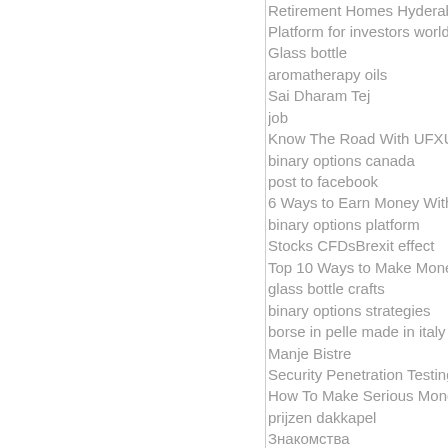Retirement Homes Hyderabad
Platform for investors worldwide
Glass bottle
aromatherapy oils
Sai Dharam Tej
job
Know The Road With UFXUFX
binary options canada
post to facebook
6 Ways to Earn Money Without L
binary options platform
Stocks CFDsBrexit effect
Top 10 Ways to Make Money on
glass bottle crafts
binary options strategies
borse in pelle made in italy
Manje Bistre
Security Penetration Testing IT S
How To Make Serious Money Fro
prijzen dakkapel
Знакомства
How To Become Rich
A Red Hot Investment
site internet
SEO
trading binary options
free traffic
Why This Tech Company Is Givin
borse da donna in pelle
50 Ways to Make a Fast $50
ocean
ion toooo